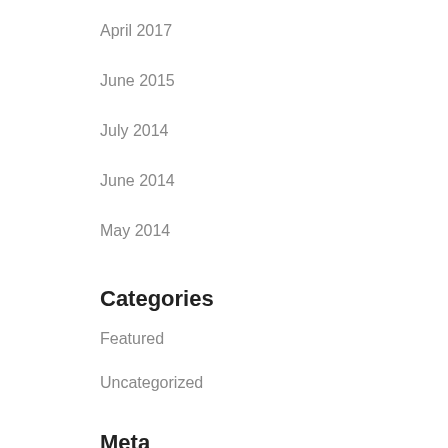April 2017
June 2015
July 2014
June 2014
May 2014
Categories
Featured
Uncategorized
Meta
Log in
Entries feed
Comments feed
WordPress.org